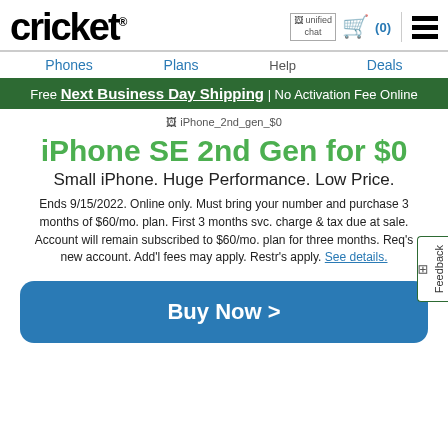[Figure (logo): Cricket wireless logo in bold black text with registered trademark symbol]
[Figure (screenshot): Header navigation with unified chat icon, cart icon with (0) count, and hamburger menu]
Phones   Plans   Help   Deals
Free Next Business Day Shipping | No Activation Fee Online
[Figure (photo): iPhone_2nd_gen_$0 product image placeholder]
iPhone SE 2nd Gen for $0
Small iPhone. Huge Performance. Low Price.
Ends 9/15/2022. Online only. Must bring your number and purchase 3 months of $60/mo. plan. First 3 months svc. charge & tax due at sale. Account will remain subscribed to $60/mo. plan for three months. Req's new account. Add'l fees may apply. Restr's apply. See details.
Buy Now >